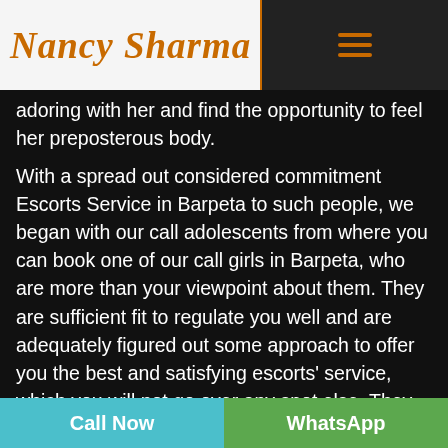Nancy Sharma
adoring with her and find the opportunity to feel her preposterous body.
With a spread out considered commitment Escorts Service in Barpeta to such people, we began with our call adolescents from where you can book one of our call girls in Barpeta, who are more than your viewpoint about them. They are sufficient fit to regulate you well and are adequately figured out some approach to offer you the best and satisfying escorts' service, which you will not go over any spot else. They are mind blowing accomplice to contribute energy with, so if you are expecting to use these girls to take them to bar or party, then, at that point
Call Now   WhatsApp